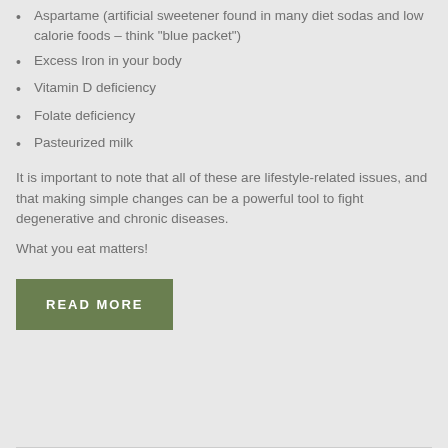Aspartame (artificial sweetener found in many diet sodas and low calorie foods – think "blue packet")
Excess Iron in your body
Vitamin D deficiency
Folate deficiency
Pasteurized milk
It is important to note that all of these are lifestyle-related issues, and that making simple changes can be a powerful tool to fight degenerative and chronic diseases.
What you eat matters!
Read More